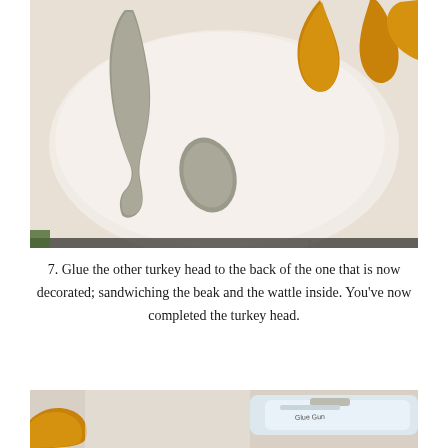[Figure (photo): Close-up photo of felt craft pieces (gray felt shapes and golden/mustard colored felt pieces) laid out on a white surface, showing turkey craft components including a beak and wattle before assembly.]
7. Glue the other turkey head to the back of the one that is now decorated; sandwiching the beak and the wattle inside. You've now completed the turkey head.
[Figure (photo): Partial photo showing the bottom edge of a crafting scene, with a glue gun visible on the right side and golden/yellow felt piece on the lower left.]